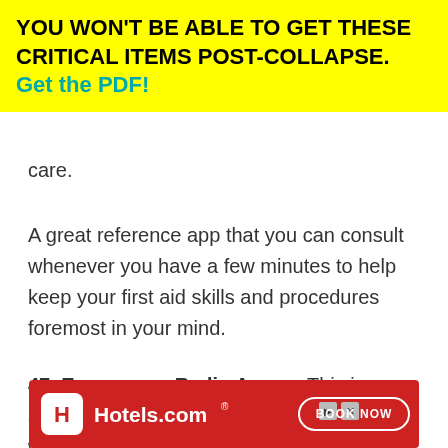YOU WON'T BE ABLE TO GET THESE CRITICAL ITEMS POST-COLLAPSE. Get the PDF!
care.
A great reference app that you can consult whenever you have a few minutes to help keep your first aid skills and procedures foremost in your mind.
47. Emergency Radio Apps – This is an app allows you to tune into emergency weather notification channels just like you could with a prope...
[Figure (other): Hotels.com advertisement banner with red background, Hotels.com logo and BOOK NOW button]